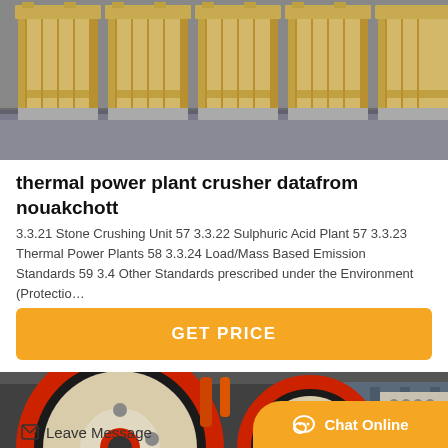[Figure (photo): Industrial machinery crates in yellow/beige packaging arranged in a row inside a facility]
thermal power plant crusher datafrom nouakchott
3.3.21 Stone Crushing Unit 57 3.3.22 Sulphuric Acid Plant 57 3.3.23 Thermal Power Plants 58 3.3.24 Load/Mass Based Emission Standards 59 3.4 Other Standards prescribed under the Environment (Protectio…
[Figure (other): GET PRICE button in orange/yellow]
[Figure (photo): Industrial jaw crusher machinery with large red and cream colored flywheel in a factory setting]
Leave Message
Chat Online